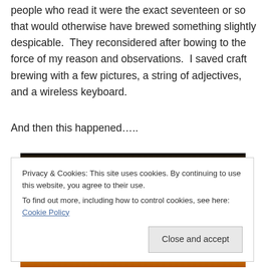people who read it were the exact seventeen or so that would otherwise have brewed something slightly despicable.  They reconsidered after bowing to the force of my reason and observations.  I saved craft brewing with a few pictures, a string of adjectives, and a wireless keyboard.
And then this happened…..
[Figure (photo): Partial view of an image showing warm orange and dark tones, partially obscured by a cookie consent overlay.]
Privacy & Cookies: This site uses cookies. By continuing to use this website, you agree to their use.
To find out more, including how to control cookies, see here: Cookie Policy